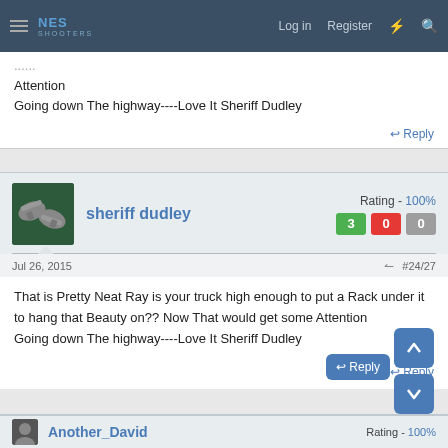NES SHOOTERS — Log in | Register
Attention
Going down The highway----Love It Sheriff Dudley
Reply
sheriff dudley — Rating - 100% — 3 | 0 | 0
Jul 26, 2015  #24/27
That is Pretty Neat Ray is your truck high enough to put a Rack under it to hang that Beauty on?? Now That would get some Attention
Going down The highway----Love It Sheriff Dudley
Reply
Another_David — Rating - 100%